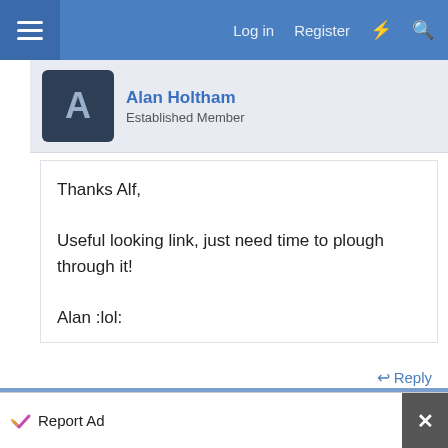Log in  Register
Alan Holtham
Established Member
Thanks Alf,

Useful looking link, just need time to plough through it!

Alan :lol:
Reply
26 Jan 2005  #11
Pete W
Established Member
Report Ad